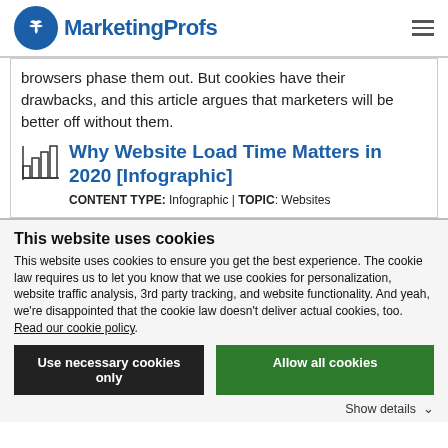MarketingProfs
browsers phase them out. But cookies have their drawbacks, and this article argues that marketers will be better off without them.
Why Website Load Time Matters in 2020 [Infographic]
CONTENT TYPE: Infographic | TOPIC: Websites
This website uses cookies
This website uses cookies to ensure you get the best experience. The cookie law requires us to let you know that we use cookies for personalization, website traffic analysis, 3rd party tracking, and website functionality. And yeah, we're disappointed that the cookie law doesn't deliver actual cookies, too. Read our cookie policy.
Use necessary cookies only
Allow all cookies
Show details